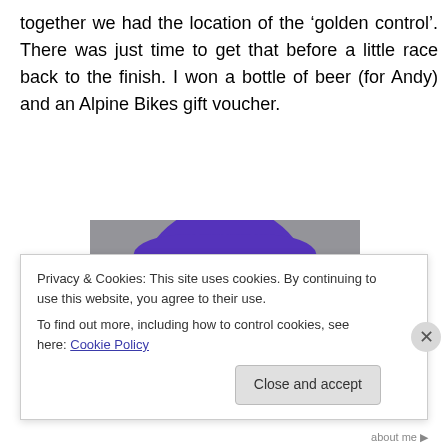together we had the location of the ‘golden control’. There was just time to get that before a little race back to the finish. I won a bottle of beer (for Andy) and an Alpine Bikes gift voucher.
[Figure (photo): Close-up photo of a person wearing a purple/blue jacket hood pulled over their head, with dark wet hair visible and a neutral expression, against a grey background.]
Privacy & Cookies: This site uses cookies. By continuing to use this website, you agree to their use.
To find out more, including how to control cookies, see here: Cookie Policy
Close and accept